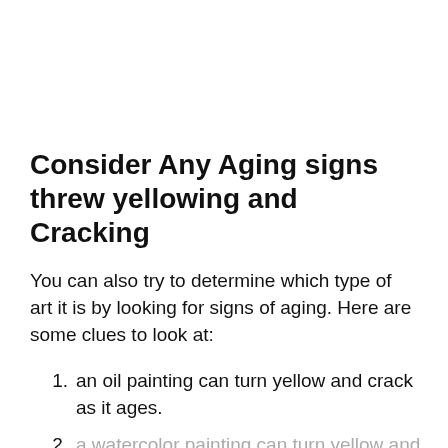Consider Any Aging signs threw yellowing and Cracking
You can also try to determine which type of art it is by looking for signs of aging. Here are some clues to look at:
an oil painting can turn yellow and crack as it ages.
(partial, cut off)